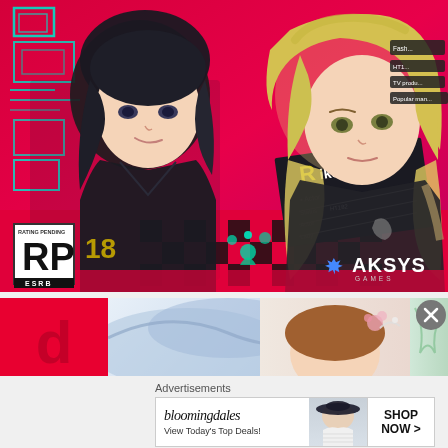[Figure (illustration): Anime-style game advertisement showing two male characters against a pink/red checkered background. Left character has dark hair wearing black. Right character is blonde. A name card reads 'Riku Nishijima - Actor'. ESRB Rating Pending badge in bottom-left. Aksys Games logo in bottom-right.]
[Figure (illustration): Partial second advertisement banner showing a red panel with stylized letter 'd', and partial anime artwork with a character in a hat and plant/flower imagery.]
[Figure (other): Close button (X) overlay on the second banner ad]
Advertisements
[Figure (other): Bloomingdales advertisement banner showing logo text 'bloomingdales', tagline 'View Today's Top Deals!', woman in wide-brim hat, and 'SHOP NOW >' button.]